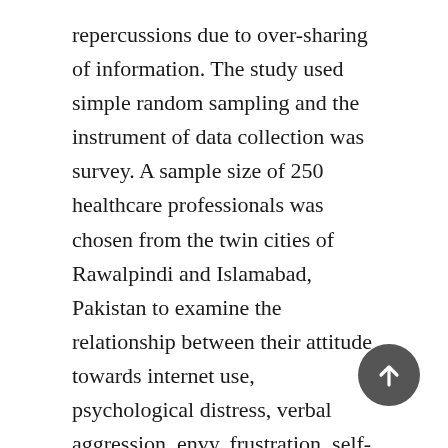repercussions due to over-sharing of information. The study used simple random sampling and the instrument of data collection was survey. A sample size of 250 healthcare professionals was chosen from the twin cities of Rawalpindi and Islamabad, Pakistan to examine the relationship between their attitude towards internet use, psychological distress, verbal aggression, envy, frustration, self-compassion, personality traits and accidental cyberbullying on social media. The results of the study have been encouraging. The findings show that psychological distress, aggression, envy, frustration and personality traits had direct effect on accidental cyberbullying whereas compassion, altruism lessened the effect of accidental cyberbullying behavior. It is our intent that the findings of this study could help raise awareness regarding fair use of social media, help policy makers in developing appropriate policies for guiding...